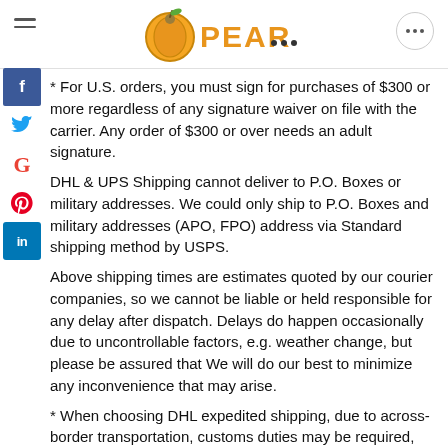PEAR [logo]
* For U.S. orders, you must sign for purchases of $300 or more regardless of any signature waiver on file with the carrier. Any order of $300 or over needs an adult signature.
DHL & UPS Shipping cannot deliver to P.O. Boxes or military addresses. We could only ship to P.O. Boxes and military addresses (APO, FPO) address via Standard shipping method by USPS.
Above shipping times are estimates quoted by our courier companies, so we cannot be liable or held responsible for any delay after dispatch. Delays do happen occasionally due to uncontrollable factors, e.g. weather change, but please be assured that We will do our best to minimize any inconvenience that may arise.
* When choosing DHL expedited shipping, due to across-border transportation, customs duties may be required, which is a tariff or tax imposed on goods. Additional charges